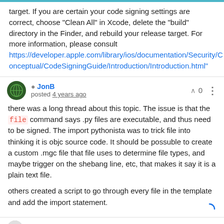target. If you are certain your code signing settings are correct, choose "Clean All" in Xcode, delete the "build" directory in the Finder, and rebuild your release target. For more information, please consult https://developer.apple.com/library/ios/documentation/Security/Conceptual/CodeSigningGuide/Introduction/Introduction.html"
JonB posted 4 years ago
there was a long thread about this topic. The issue is that the file command says .py files are executable, and thus need to be signed. The import pythonista was to trick file into thinking it is objc source code. It should be possuble to create a custom .mgc file that file uses to determine file types, and maybe trigger on the shebang line, etc, that makes it say it is a plain text file.
others created a script to go through every file in the template and add the import statement.
Ichicoro